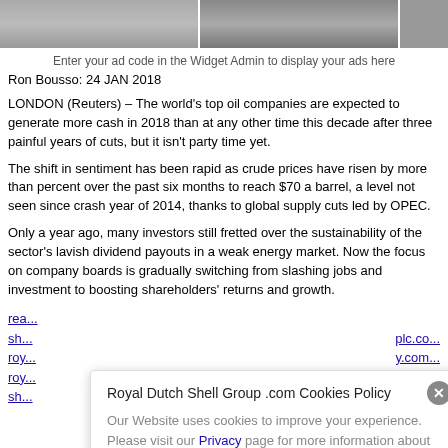[Figure (photo): Strip of three photos at the top of the page]
Enter your ad code in the Widget Admin to display your ads here
Ron Bousso: 24 JAN 2018
LONDON (Reuters) – The world's top oil companies are expected to generate more cash in 2018 than at any other time this decade after three painful years of cuts, but it isn't party time yet.
The shift in sentiment has been rapid as crude prices have risen by more than percent over the past six months to reach $70 a barrel, a level not seen since crash year of 2014, thanks to global supply cuts led by OPEC.
Only a year ago, many investors still fretted over the sustainability of the sector's lavish dividend payouts in a weak energy market. Now the focus on company boards is gradually switching from slashing jobs and investment to boosting shareholders' returns and growth.
rea...
sh... plc.co...
roy... y.com...
roy... nd
sh... oedia f...
Royal Dutch Shell Group .com Cookies Policy
Our Website uses cookies to improve your experience. Please visit our Privacy page for more information about cookies and how we use them.